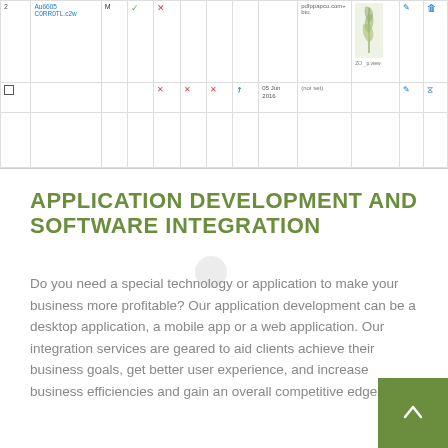[Figure (screenshot): Partial screenshot of a web application table showing rows with checkmarks, red X marks, dates, email addresses, and a leaf/plant thumbnail image. Table has multiple columns with icons for edit and delete actions.]
APPLICATION DEVELOPMENT AND SOFTWARE INTEGRATION
Do you need a special technology or application to make your business more profitable? Our application development can be a desktop application, a mobile app or a web application. Our integration services are geared to aid clients achieve their business goals, get better user experience, and increase business efficiencies and gain an overall competitive edge.